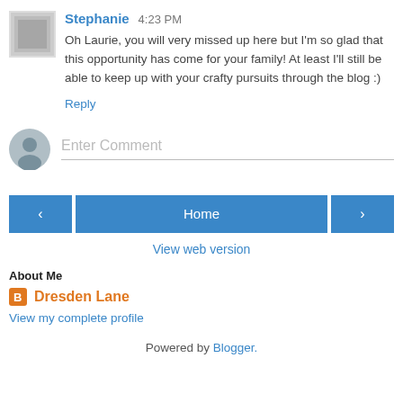Stephanie 4:23 PM
Oh Laurie, you will very missed up here but I'm so glad that this opportunity has come for your family! At least I'll still be able to keep up with your crafty pursuits through the blog :)
Reply
Enter Comment
< Home >
View web version
About Me
Dresden Lane
View my complete profile
Powered by Blogger.